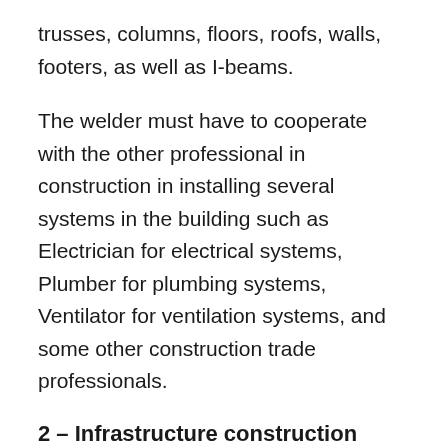trusses, columns, floors, roofs, walls, footers, as well as I-beams.
The welder must have to cooperate with the other professional in construction in installing several systems in the building such as Electrician for electrical systems, Plumber for plumbing systems, Ventilator for ventilation systems, and some other construction trade professionals.
2 – Infrastructure construction
Infrastructure construction is the sector that constructs bridges, railways, dams, stadia, highways, water management systems, as well